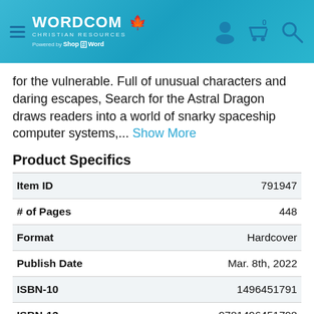WORDCOM Christian Resources – Powered by ShopTheWord
for the vulnerable. Full of unusual characters and daring escapes, Search for the Astral Dragon draws readers into a world of snarky spaceship computer systems,... Show More
Product Specifics
|  |  |
| --- | --- |
| Item ID | 791947 |
| # of Pages | 448 |
| Format | Hardcover |
| Publish Date | Mar. 8th, 2022 |
| ISBN-10 | 1496451791 |
| ISBN-13 | 9781496451798 |
| Publisher | Tyndale House Publishers ~ |